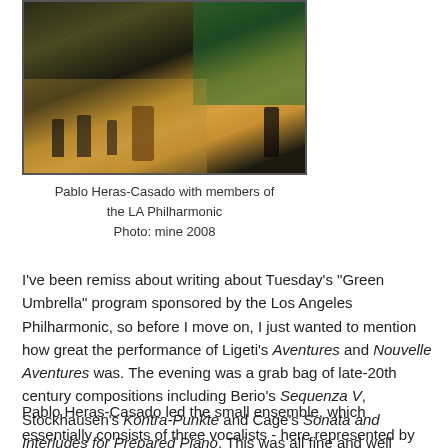[Figure (photo): Orchestra performance on stage with musicians and a conductor; green backdrop on the right side. Pablo Heras-Casado with members of the LA Philharmonic, 2008.]
Pablo Heras-Casado with members of the LA Philharmonic
Photo: mine 2008
I've been remiss about writing about Tuesday's “Green Umbrella” program sponsored by the Los Angeles Philharmonic, so before I move on, I just wanted to mention how great the performance of Ligeti’s Aventures and Nouvelle Aventures was. The evening was a grab bag of late-20th century compositions including Berio’s Sequenza V, Stockhausen’s Kontra-Punkte and Cage’s Sonata and Interludes for Prepared Piano. This was all fine and well (especially James Miller’s clown-suited take on the Berio) but it was the Ligeti that stood out.
Pablo Heras-Casado led the small ensemble, which essentially consists of three vocalists - here represented by